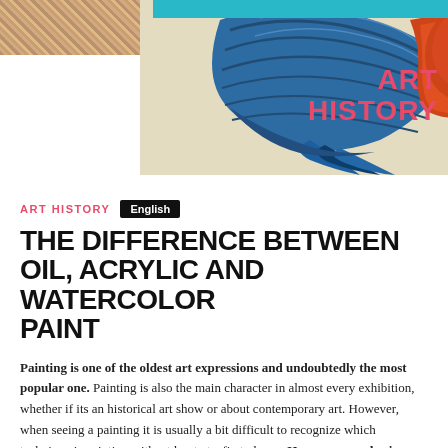[Figure (photo): Header with three images: left shows a textured mosaic pattern, center shows a detailed painting of a blue and orange bird wing, right shows a teal/turquoise colored image. The text ART HISTORY appears in pink/coral on the right side of the header.]
ART HISTORY  English
THE DIFFERENCE BETWEEN OIL, ACRYLIC AND WATERCOLOR PAINT
Painting is one of the oldest art expressions and undoubtedly the most popular one. Painting is also the main character in almost every exhibition, whether if its an historical art show or about contemporary art. However, when seeing a painting it is usually a bit difficult to recognize which technique is painting with, at least at a first glance. Here are some basic characteristics to know more about the difference between oil, acrylic and watercolor paint.